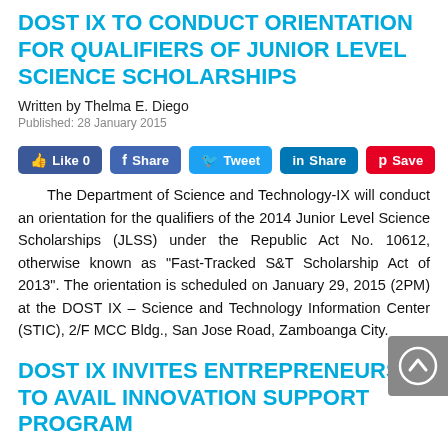DOST IX TO CONDUCT ORIENTATION FOR QUALIFIERS OF JUNIOR LEVEL SCIENCE SCHOLARSHIPS
Written by Thelma E. Diego
Published: 28 January 2015
[Figure (infographic): Social media share buttons: Like 0 (Facebook), Share (Facebook), Tweet (Twitter), Share (LinkedIn), Save (Pinterest)]
The Department of Science and Technology-IX will conduct an orientation for the qualifiers of the 2014 Junior Level Science Scholarships (JLSS) under the Republic Act No. 10612, otherwise known as “Fast-Tracked S&T Scholarship Act of 2013”. The orientation is scheduled on January 29, 2015 (2PM) at the DOST IX – Science and Technology Information Center (STIC), 2/F MCC Bldg., San Jose Road, Zamboanga City.
DOST IX INVITES ENTREPRENEURS TO AVAIL INNOVATION SUPPORT PROGRAM